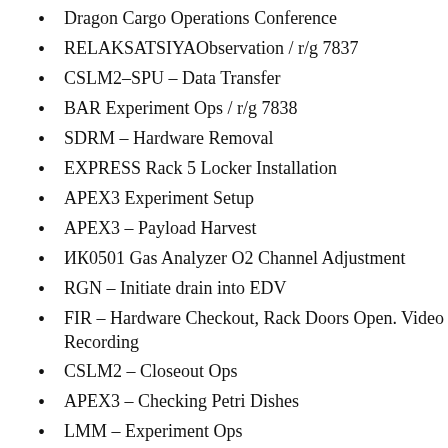Dragon Cargo Operations Conference
RELAKSATSIYAObservation / r/g 7837
CSLM2–SPU – Data Transfer
BAR Experiment Ops / r/g 7838
SDRM – Hardware Removal
EXPRESS Rack 5 Locker Installation
APEX3 Experiment Setup
APEX3 – Payload Harvest
ИК0501 Gas Analyzer O2 Channel Adjustment
RGN – Initiate drain into EDV
FIR – Hardware Checkout, Rack Doors Open. Video Recording
CSLM2 – Closeout Ops
APEX3 – Checking Petri Dishes
LMM – Experiment Ops
RGN – Terminate drain into EDV